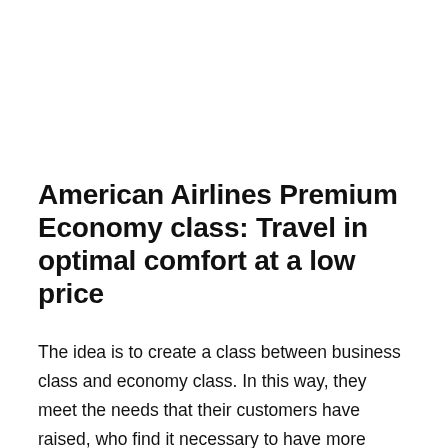American Airlines Premium Economy class: Travel in optimal comfort at a low price
The idea is to create a class between business class and economy class. In this way, they meet the needs that their customers have raised, who find it necessary to have more space and increase their comfort during the flight, without having to resort to travel in Executive. Apparently, the airline company agrees to what their customers need...